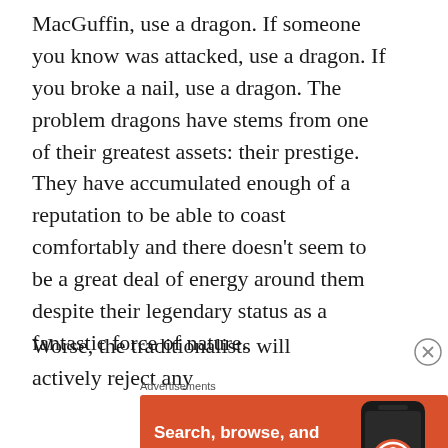MacGuffin, use a dragon. If someone you know was attacked, use a dragon. If you broke a nail, use a dragon. The problem dragons have stems from one of their greatest assets: their prestige. They have accumulated enough of a reputation to be able to coast comfortably and there doesn't seem to be a great deal of energy around them despite their legendary status as a fantastic force of nature.
Worse, the traditionalists will actively reject any
[Figure (other): DuckDuckGo advertisement banner with orange background. Text: 'Search, browse, and email with more privacy. All in One Free App'. Shows DuckDuckGo logo and a phone graphic.]